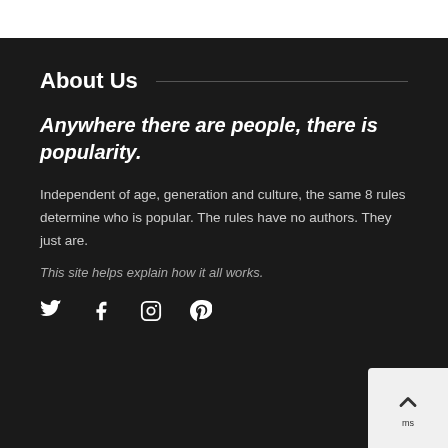About Us
Anywhere there are people, there is popularity.
Independent of age, generation and culture, the same 8 rules determine who is popular. The rules have no authors. They just are.
This site helps explain how it all works.
[Figure (other): Social media icons: Twitter, Facebook, Instagram, Pinterest]